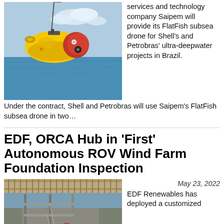[Figure (photo): Yellow and red FlatFish subsea drone being lifted over the ocean by a cable, with blue sky and sea in background.]
services and technology company Saipem will provide its FlatFish subsea drone for Shell's and Petrobras' ultra-deepwater projects in Brazil.Under the contract, Shell and Petrobras will use Saipem's FlatFish subsea drone in two…
EDF, ORCA Hub in 'First' Autonomous ROV Wind Farm Foundation Inspection
[Figure (photo): Yellow ROV/drone on a boat deck near a pier structure over water, with metal railings and equipment visible.]
May 23, 2022 EDF Renewables has deployed a customized